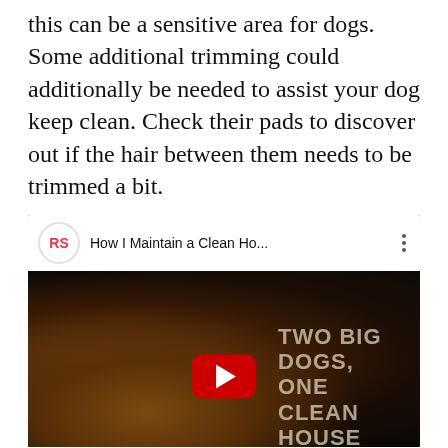this can be a sensitive area for dogs. Some additional trimming could additionally be needed to assist your dog keep clean. Check their pads to discover out if the hair between them needs to be trimmed a bit.
[Figure (screenshot): Embedded YouTube video card showing 'How I Maintain a Clean Ho...' with RS channel icon, three-dot menu, and a dark thumbnail showing a woman with large dogs and overlay text 'TWO BIG DOGS, ONE CLEAN HOUSE' with a YouTube play button.]